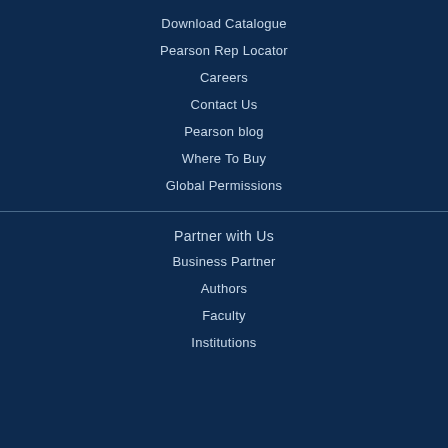Download Catalogue
Pearson Rep Locator
Careers
Contact Us
Pearson blog
Where To Buy
Global Permissions
Partner with Us
Business Partner
Authors
Faculty
Institutions